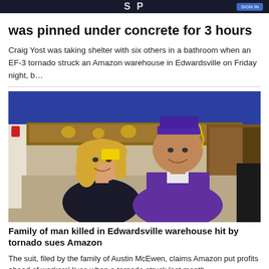was pinned under concrete for 3 hours
Craig Yost was taking shelter with six others in a bathroom when an EF-3 tornado struck an Amazon warehouse in Edwardsville on Friday night, b…
[Figure (photo): Photo of a woman with long blonde hair and a young man wearing a purple graduation cap and gown, posing together in what appears to be a school gymnasium with blue bleachers in the background.]
Family of man killed in Edwardsville warehouse hit by tornado sues Amazon
The suit, filed by the family of Austin McEwen, claims Amazon put profits ahead of workers' lives when a tornado struck last month.